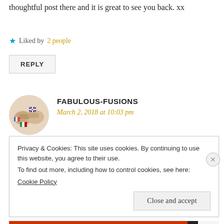thoughtful post there and it is great to see you back. xx
★ Liked by 2 people
REPLY
FABULOUS-FUSIONS
March 2, 2018 at 10:03 pm
Hello Arundhati 🙂
Privacy & Cookies: This site uses cookies. By continuing to use this website, you agree to their use.
To find out more, including how to control cookies, see here:
Cookie Policy
Close and accept